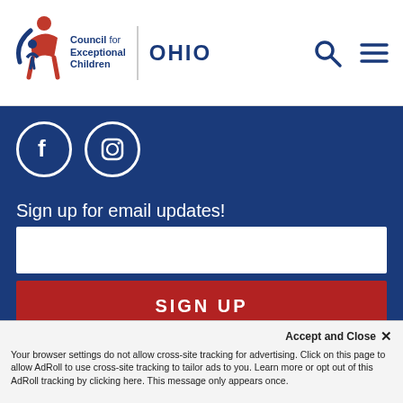[Figure (logo): Council for Exceptional Children Ohio logo with navigation icons (search and hamburger menu)]
[Figure (illustration): Social media icons: Facebook and Instagram circles on blue background]
Sign up for email updates!
[Figure (screenshot): Email input field (white rectangle) and SIGN UP button (red)]
1945 N High St, 300 Arps Hall, Columbus, Oh 43210
Accept and Close ×
Your browser settings do not allow cross-site tracking for advertising. Click on this page to allow AdRoll to use cross-site tracking to tailor ads to you. Learn more or opt out of this AdRoll tracking by clicking here. This message only appears once.